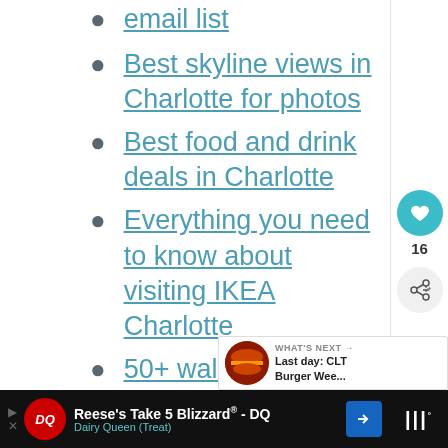email list
Best skyline views in Charlotte for photos
Best food and drink deals in Charlotte
Everything you need to know about visiting IKEA Charlotte
50+ walks and hikes in and near Charlotte
Free and cheap things to do this week
Charlotte Hotel Deals
Charlotte on the Cheap events
Charlotte area farmers markets
[Figure (screenshot): WHAT'S NEXT bar with Burger Week image and text 'Last day: CLT Burger Wee...']
[Figure (infographic): Advertisement: Reese's Take 5 Blizzard® - DQ, Dairy Queen (Treat) with DQ logo and blue arrow icon on dark background]